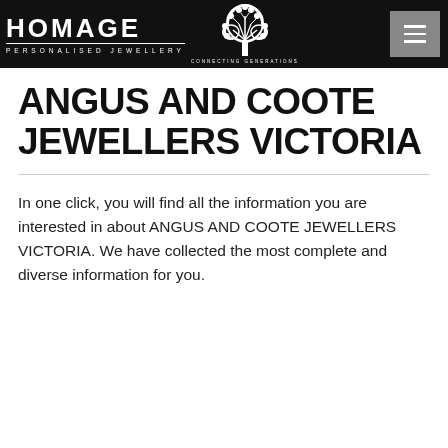HOMAGE PERSONALISED JEWELLERY — CONNECTING GENERATIONS
ANGUS AND COOTE JEWELLERS VICTORIA
In one click, you will find all the information you are interested in about ANGUS AND COOTE JEWELLERS VICTORIA. We have collected the most complete and diverse information for you.